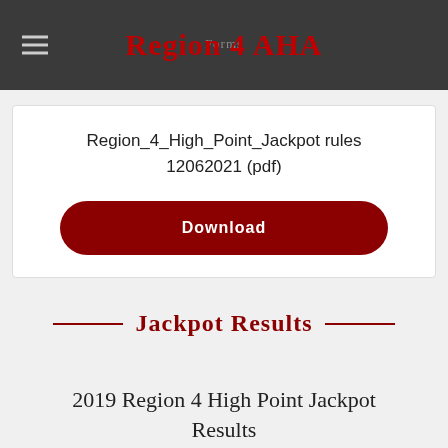Region 4 AHA
Region_4_High_Point_Jackpot rules 12062021 (pdf)
Download
Jackpot Results
2019 Region 4 High Point Jackpot Results